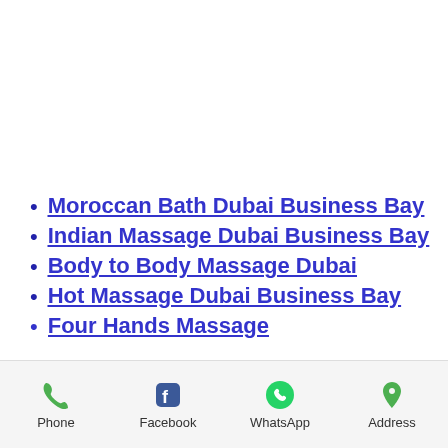Moroccan Bath Dubai Business Bay
Indian Massage Dubai Business Bay
Body to Body Massage Dubai
Hot Massage Dubai Business Bay
Four Hands Massage
Phone  Facebook  WhatsApp  Address